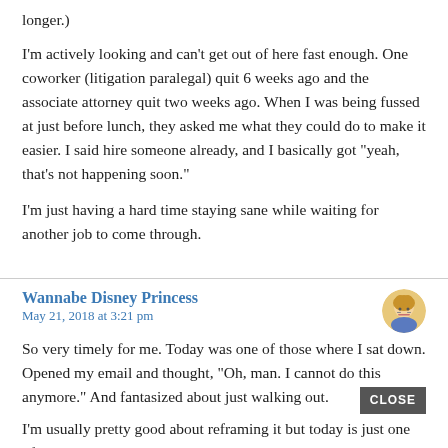longer.)
I'm actively looking and can't get out of here fast enough. One coworker (litigation paralegal) quit 6 weeks ago and the associate attorney quit two weeks ago. When I was being fussed at just before lunch, they asked me what they could do to make it easier. I said hire someone already, and I basically got “yeah, that’s not happening soon.”
I’m just having a hard time staying sane while waiting for another job to come through.
Wannabe Disney Princess
May 21, 2018 at 3:21 pm
So very timely for me. Today was one of those where I sat down. Opened my email and thought, “Oh, man. I cannot do this anymore.” And fantasized about just walking out.
I’m usually pretty good about reframing it but today is just one of those where I can’t.